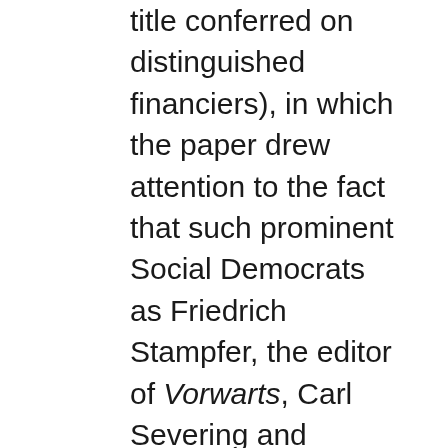title conferred on distinguished financiers), in which the paper drew attention to the fact that such prominent Social Democrats as Friedrich Stampfer, the editor of Vorwarts, Carl Severing and Hermann Muller were closely connected with these Jewish capitalists. Although the Communists tried on the whole to stay clear of the anti-Semitic issue, they could not always avoid it, especially when it was raised by nationalist hecklers during joint discussion meetings. This was clearly demonstrated in the case of Hermann Remmele, who on August 2 addressed a mixed audience of Communists and National Socialists in Stuttgart. When he told his listeners that anti-Semitism was an age-old device which those in power employed to distract the attention of the blind and ignorant masses from the real causes of their misery, the nationalists shouted from a realistic